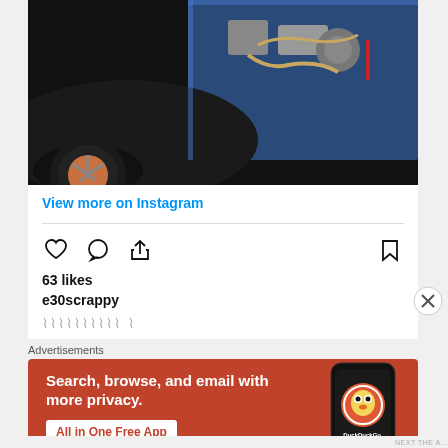[Figure (photo): Car engine bay photo showing a stripped car (BMW E30) with exposed blue-painted engine bay and turbo setup, with one wheel visible]
View more on Instagram
63 likes
e30scrappy
Advertisements
[Figure (screenshot): DuckDuckGo advertisement banner with orange background showing text 'Search, browse, and email with more privacy. All in One Free App' with a phone mockup showing DuckDuckGo logo]